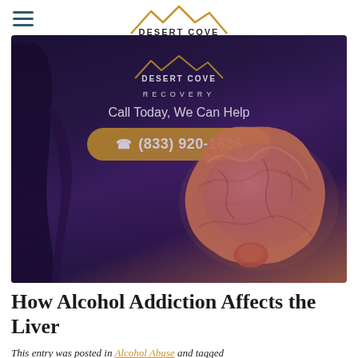[Figure (logo): Desert Cove Recovery logo with mountain silhouette in gold above text]
[Figure (photo): 3D medical illustration of a human liver glowing orange-pink against a dark purple background with a body silhouette, overlaid with a call-to-action button showing phone number (833) 920-1636]
How Alcohol Addiction Affects the Liver
This entry was posted in Alcohol Abuse and tagged alcohol addiction, alcohol consumption, how